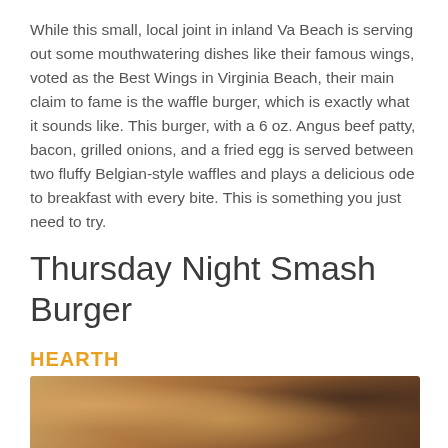While this small, local joint in inland Va Beach is serving out some mouthwatering dishes like their famous wings, voted as the Best Wings in Virginia Beach, their main claim to fame is the waffle burger, which is exactly what it sounds like. This burger, with a 6 oz. Angus beef patty, bacon, grilled onions, and a fried egg is served between two fluffy Belgian-style waffles and plays a delicious ode to breakfast with every bite. This is something you just need to try.
Thursday Night Smash Burger
HEARTH
[Figure (photo): Partial photo of a burger or food item, showing warm brown and orange tones at the bottom of the page, partially cropped]